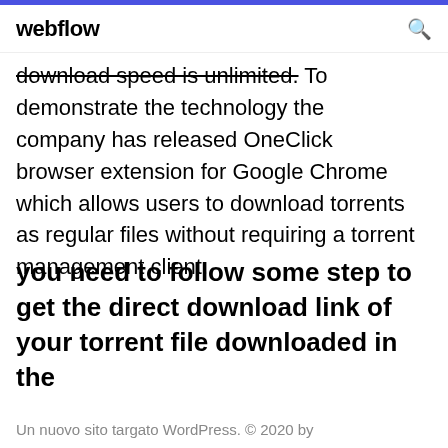webflow
download speed is unlimited. To demonstrate the technology the company has released OneClick browser extension for Google Chrome which allows users to download torrents as regular files without requiring a torrent management client.
you need to follow some step to get the direct download link of your torrent file downloaded in the
Un nuovo sito targato WordPress. © 2020 by